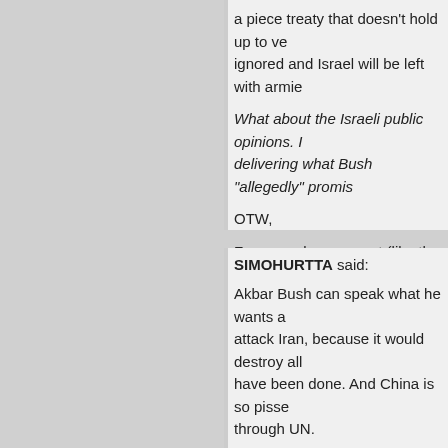a piece treaty that doesn't hold up to ve... ignored and Israel will be left with armie...
What about the Israeli public opinions. I... delivering what Bush "allegedly" promis...
OTW,
For a good agreement (like the ones wi... whatever Israeli and American governm... Habib.
October 17th, 2008, 3:40 pm
SIMOHURTTA said:
Akbar Bush can speak what he wants a... attack Iran, because it would destroy all... have been done. And China is so pisse... through UN.
That new war, obviously much more se... financial crisis. And the depression wou... dominant currency. After that Israel is to...
Promising Golan back to Syria, if it joins... cent. Well some billions in help to Israel...
PS Akbar an interesting view by an Isra... as superman comic books. Fiction you k...
Book refuting Jewish taboo on Israel's b...